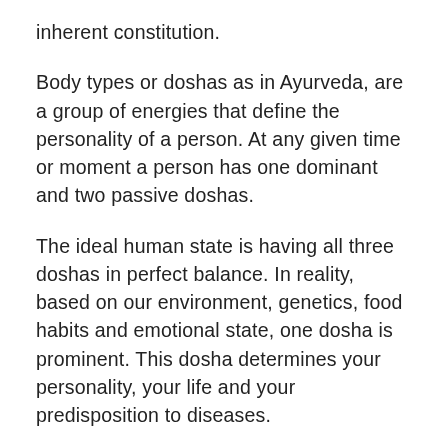inherent constitution.
Body types or doshas as in Ayurveda, are a group of energies that define the personality of a person. At any given time or moment a person has one dominant and two passive doshas.
The ideal human state is having all three doshas in perfect balance. In reality, based on our environment, genetics, food habits and emotional state, one dosha is prominent. This dosha determines your personality, your life and your predisposition to diseases.
Based on your dosha, you can even take